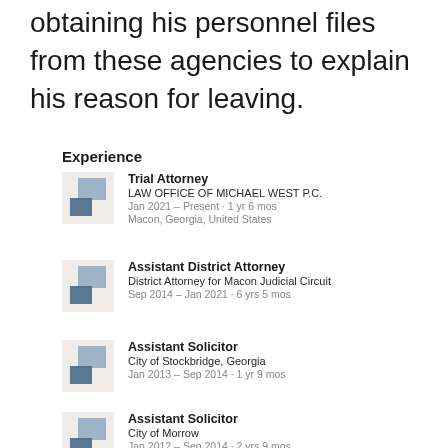obtaining his personnel files from these agencies to explain his reason for leaving.
Experience
Trial Attorney
LAW OFFICE OF MICHAEL WEST P.C.
Jan 2021 – Present · 1 yr 6 mos
Macon, Georgia, United States
Assistant District Attorney
District Attorney for Macon Judicial Circuit
Sep 2014 – Jan 2021 · 6 yrs 5 mos
Assistant Solicitor
City of Stockbridge, Georgia
Jan 2013 – Sep 2014 · 1 yr 9 mos
Assistant Solicitor
City of Morrow
Jan 2012 – Sep 2014 · 2 yrs 9 mos